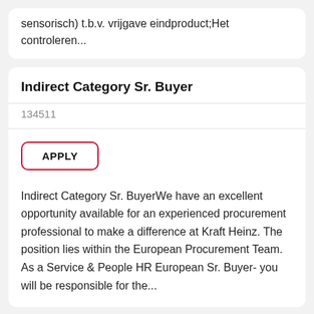sensorisch) t.b.v. vrijgave eindproduct;Het controleren...
Indirect Category Sr. Buyer
134511
APPLY
Indirect Category Sr. BuyerWe have an excellent opportunity available for an experienced procurement professional to make a difference at Kraft Heinz. The position lies within the European Procurement Team.  As a Service & People HR European Sr. Buyer- you will be responsible for the...